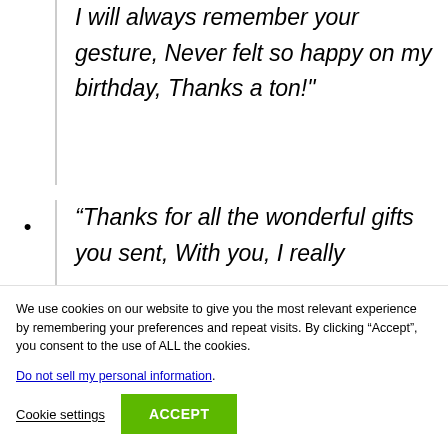I will always remember your gesture, Never felt so happy on my birthday, Thanks a ton!"
“Thanks for all the wonderful gifts you sent, With you, I really
We use cookies on our website to give you the most relevant experience by remembering your preferences and repeat visits. By clicking “Accept”, you consent to the use of ALL the cookies.
Do not sell my personal information.